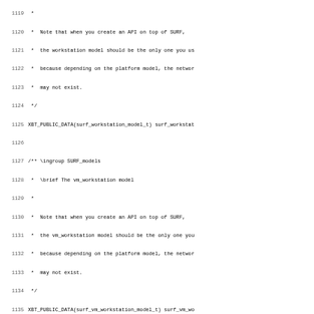Source code listing lines 1119-1150, showing C/C++ header comments and declarations for SURF workstation model API documentation.